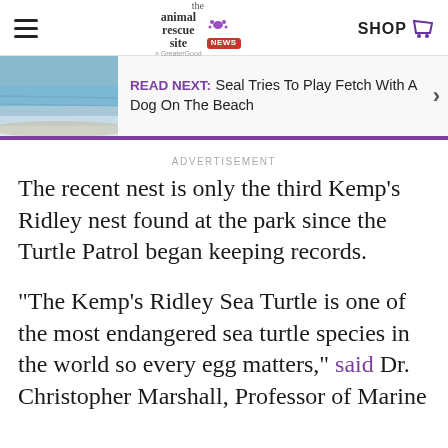the animal rescue site NEWS - SHOP
[Figure (photo): Thumbnail photo of a beach/ocean scene with calm blue-green water and a shoreline]
READ NEXT: Seal Tries To Play Fetch With A Dog On The Beach
ADVERTISEMENT
The recent nest is only the third Kemp's Ridley nest found at the park since the Turtle Patrol began keeping records.
“The Kemp’s Ridley Sea Turtle is one of the most endangered sea turtle species in the world so every egg matters,” said Dr. Christopher Marshall, Professor of Marine